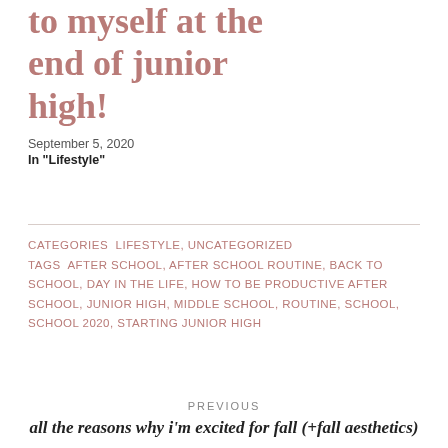to myself at the end of junior high!
September 5, 2020
In "Lifestyle"
CATEGORIES  LIFESTYLE, UNCATEGORIZED
TAGS  AFTER SCHOOL, AFTER SCHOOL ROUTINE, BACK TO SCHOOL, DAY IN THE LIFE, HOW TO BE PRODUCTIVE AFTER SCHOOL, JUNIOR HIGH, MIDDLE SCHOOL, ROUTINE, SCHOOL, SCHOOL 2020, STARTING JUNIOR HIGH
PREVIOUS
all the reasons why i'm excited for fall (+fall aesthetics)